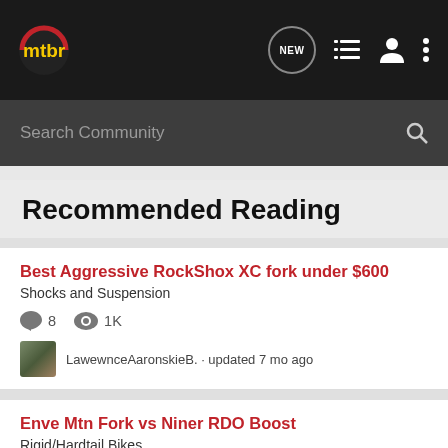mtbr — nav bar with NEW, list, user, and dots icons
Search Community
Recommended Reading
Best Aggressive RockShox XC fork under $600
Shocks and Suspension
8 comments · 1K views
LawewnceAaronskieB. · updated 7 mo ago
Enve Mtn Fork vs Niner RDO Boost
Rigid/Hardtail Bikes
10 comments · 857 views